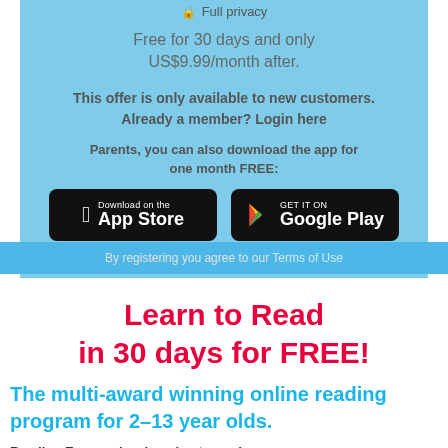🔒 Full privacy
Free for 30 days and only US$9.99/month after.
This offer is only available to new customers. Already a member? Login here
Parents, you can also download the app for one month FREE:
[Figure (logo): Download on the App Store button]
[Figure (logo): Get it on Google Play button]
By registering you agree to our Terms of Use
Learn to Read in 30 days for FREE!
The multi-award winning online reading program for 2–13 year olds.
Reading Eggs makes learning to read